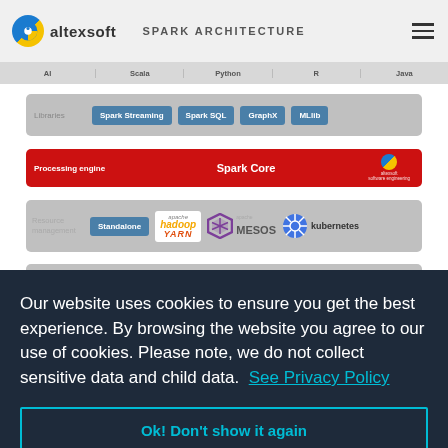altexsoft — SPARK ARCHITECTURE
[Figure (infographic): Spark architecture diagram showing layers: Libraries (Spark Streaming, Spark SQL, GraphX, MLlib), Processing engine (Spark Core), Resource management (Standalone, Hadoop YARN, MESOS, Kubernetes), Data storage (Hadoop HDFS, HBase, Cassandra, Amazon S3)]
Our website uses cookies to ensure you get the best experience. By browsing the website you agree to our use of cookies. Please note, we do not collect sensitive data and child data.  See Privacy Policy
Ok! Don't show it again